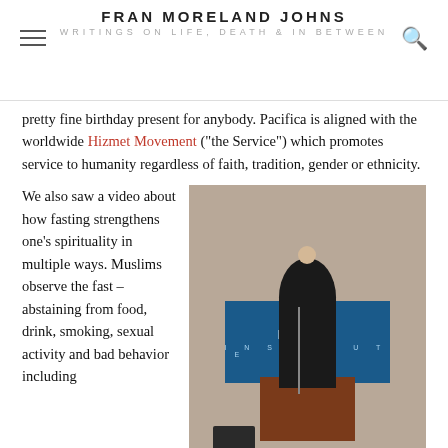FRAN MORELAND JOHNS
WRITINGS ON LIFE, DEATH & IN BETWEEN
pretty fine birthday present for anybody. Pacifica is aligned with the worldwide Hizmet Movement ("the Service") which promotes service to humanity regardless of faith, tradition, gender or ethnicity.
We also saw a video about how fasting strengthens one's spirituality in multiple ways. Muslims observe the fast – abstaining from food, drink, smoking, sexual activity and bad behavior including
[Figure (photo): A man in a suit and white cap standing at a podium with a Pacifica Institute banner in the background, speaking or leading a call to prayer with hands raised to his head.]